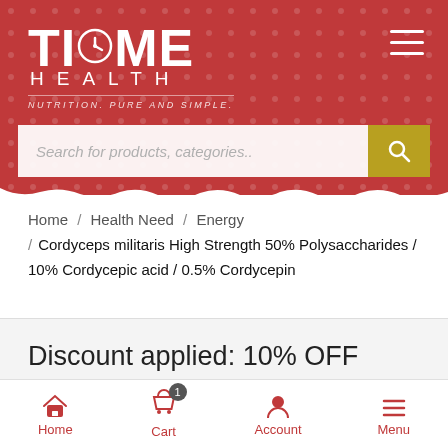[Figure (logo): Time Health logo with clock icon, tagline: NUTRITION. PURE AND SIMPLE.]
[Figure (screenshot): Search bar with placeholder 'Search for products, categories..' and yellow search button]
Home / Health Need / Energy / Cordyceps militaris High Strength 50% Polysaccharides / 10% Cordycepic acid / 0.5% Cordycepin
Discount applied: 10% OFF ORDERS OVER £20
Home  Cart  Account  Menu